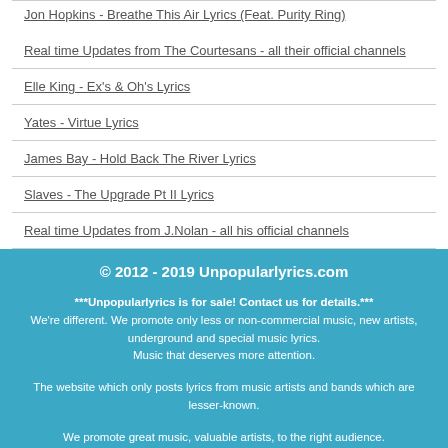Jon Hopkins - Breathe This Air Lyrics (Feat. Purity Ring)
Real time Updates from The Courtesans - all their official channels
Elle King - Ex's & Oh's Lyrics
Yates - Virtue Lyrics
James Bay - Hold Back The River Lyrics
Slaves - The Upgrade Pt II Lyrics
Real time Updates from J.Nolan - all his official channels
© 2012 - 2019 Unpopularlyrics.com
***Unpopularlyrics is for sale! Contact us for details.***
We're different. We promote only less or non-commercial music, new artists, underground and special music lyrics.
Music that deserves more attention.
The website which only posts lyrics from music artists and bands which are lesser-known.
We promote great music, valuable artists, to the right audience.